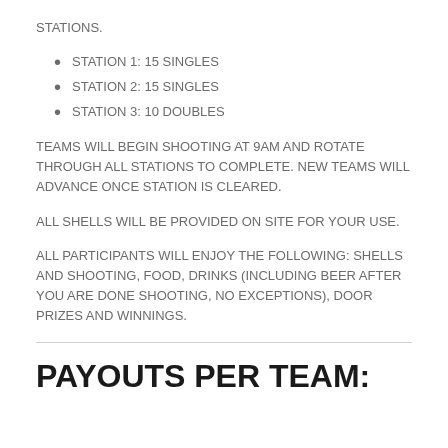STATIONS.
STATION 1: 15 SINGLES
STATION 2: 15 SINGLES
STATION 3: 10 DOUBLES
TEAMS WILL BEGIN SHOOTING AT 9AM AND ROTATE THROUGH ALL STATIONS TO COMPLETE. NEW TEAMS WILL ADVANCE ONCE STATION IS CLEARED.
ALL SHELLS WILL BE PROVIDED ON SITE FOR YOUR USE.
ALL PARTICIPANTS WILL ENJOY THE FOLLOWING: SHELLS AND SHOOTING, FOOD, DRINKS (INCLUDING BEER AFTER YOU ARE DONE SHOOTING, NO EXCEPTIONS), DOOR PRIZES AND WINNINGS.
PAYOUTS PER TEAM: